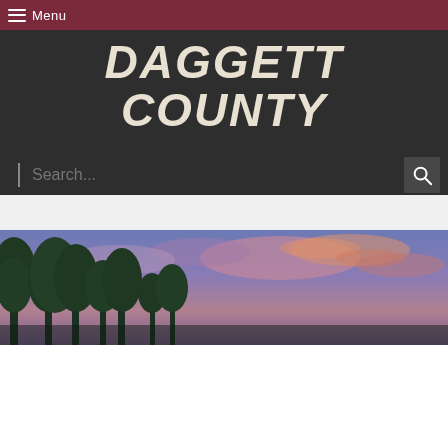Menu
[Figure (logo): Daggett County handwritten-style logo text in off-white on dark background]
[Figure (screenshot): Search bar with magnifying glass icon on dark background]
[Figure (photo): Landscape photo showing trees with purple/pink sunset sky, Daggett County website hero image]